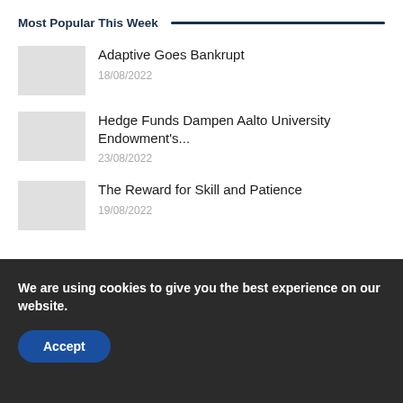Most Popular This Week
Adaptive Goes Bankrupt
18/08/2022
Hedge Funds Dampen Aalto University Endowment's...
23/08/2022
The Reward for Skill and Patience
19/08/2022
We are using cookies to give you the best experience on our website.